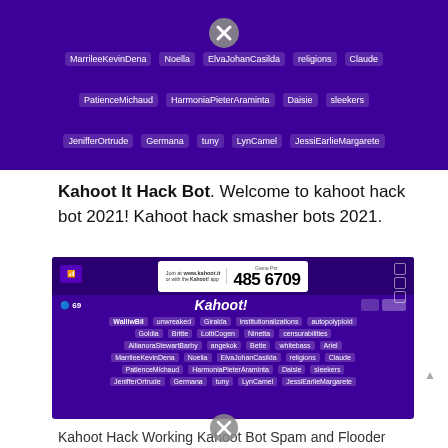[Figure (screenshot): Kahoot lobby screenshot (top/cropped) showing bot-spammed player names on purple background: AllianoraStewartBarby, angekok, Bette, whitebass, Ariel, MarrileeKevinDena, Noella, ElvaJohanCasilda, religions, Claude, PatienceMichaud, HarmoniaPieterAraminta, Daisie, sleekers, JenifferOrtrude, Germana, tuny, LynCamel, JessiEarlieMargarete]
Kahoot It Hack Bot. Welcome to kahoot hack bot 2021! Kahoot hack smasher bots 2021.
[Figure (screenshot): Kahoot lobby screenshot showing game PIN 485 6709 with bot-spammed player names: WalliwBil, unwreaked, Giralda, institutionalizations, autopolyploid, Goldia, Britte, LottiCogen, Ninetta, censurabilities, AllianoraStewartBarby, angekok, Bette, whitebass, Ariel, MarrileeKevinDena, Noella, ElvaJohanCasilda, religions, Claude, PatienceMichaud, HarmoniaPieterAraminta, Daisie, sleekers, JenifferOrtrude, Germana, tuny, LynCamel, JessiEarlieMargarete]
Kahoot Hack Working Kahoot Bot Spam and Flooder (2021 from gamingpirate.com